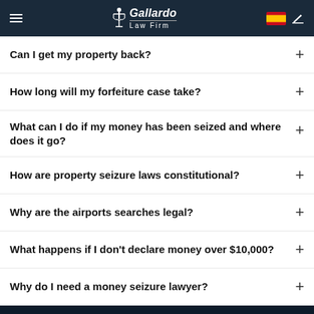Gallardo Law Firm
Can I get my property back?
How long will my forfeiture case take?
What can I do if my money has been seized and where does it go?
How are property seizure laws constitutional?
Why are the airports searches legal?
What happens if I don't declare money over $10,000?
Why do I need a money seizure lawyer?
Gallardo Law Firm — MIAMI OFFICE